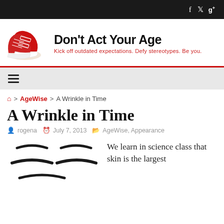f  ✓  g+
[Figure (logo): Don't Act Your Age blog logo with red sneakers illustration and tagline: Kick off outdated expectations. Defy stereotypes. Be you.]
≡ (hamburger menu)
🏠 > AgeWise > A Wrinkle in Time
A Wrinkle in Time
rogena  July 7, 2013  AgeWise, Appearance
[Figure (illustration): Illustration of a face with wrinkle lines around the forehead/brow area]
We learn in science class that skin is the largest